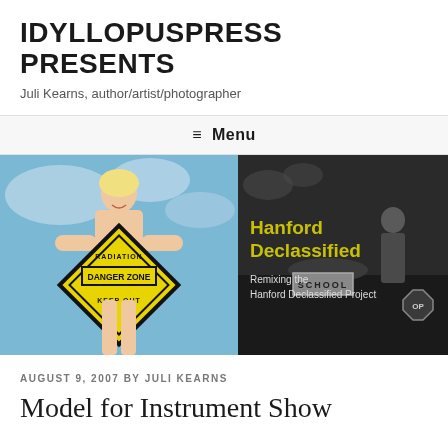IDYLLOPUSPRESS PRESENTS
Juli Kearns, author/artist/photographer
≡ Menu
[Figure (photo): Left half: color photo of a woman in vintage style holding a yellow diamond-shaped radiation danger zone sign reading 'RADIATION DANGER ZONE KEEP OUT' against a blue sky background. Right half: black and white photo with overlay text 'Hanford Declassified' in yellow and 'Remixing the Hanford Declassified Project' in light text, with a school sign and stop sign visible.]
AUGUST 9, 2007 BY JULI KEARNS
Model for Instrument Show